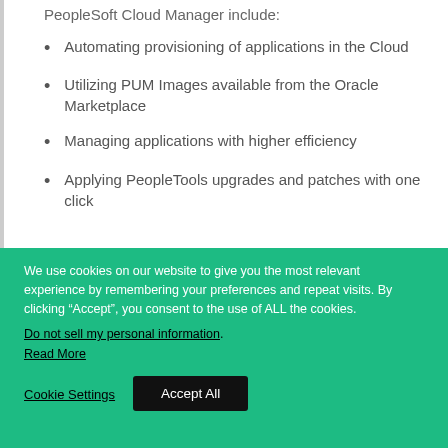PeopleSoft Cloud Manager include:
Automating provisioning of applications in the Cloud
Utilizing PUM Images available from the Oracle Marketplace
Managing applications with higher efficiency
Applying PeopleTools upgrades and patches with one click
We use cookies on our website to give you the most relevant experience by remembering your preferences and repeat visits. By clicking “Accept”, you consent to the use of ALL the cookies. Do not sell my personal information. Read More
Cookie Settings
Accept All